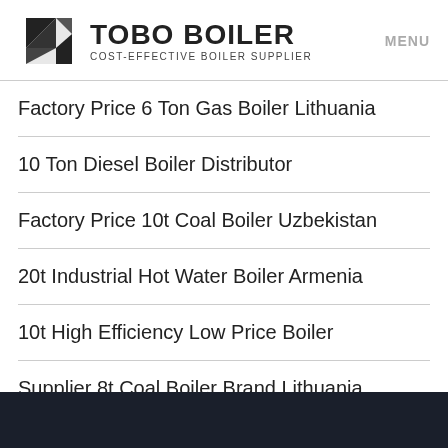TOBO BOILER — COST-EFFECTIVE BOILER SUPPLIER | MENU
Factory Price 6 Ton Gas Boiler Lithuania
10 Ton Diesel Boiler Distributor
Factory Price 10t Coal Boiler Uzbekistan
20t Industrial Hot Water Boiler Armenia
10t High Efficiency Low Price Boiler
Supplier 8t Coal Boiler Brand Lithuania